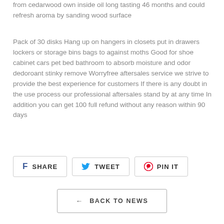from cedarwood own inside oil long tasting 46 months and could refresh aroma by sanding wood surface
Pack of 30 disks Hang up on hangers in closets put in drawers lockers or storage bins bags to against moths Good for shoe cabinet cars pet bed bathroom to absorb moisture and odor dedoroant stinky remove Worryfree aftersales service we strive to provide the best experience for customers If there is any doubt in the use process our professional aftersales stand by at any time In addition you can get 100 full refund without any reason within 90 days
SHARE  TWEET  PIN IT
← BACK TO NEWS